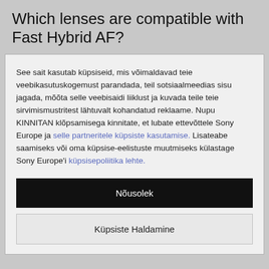Which lenses are compatible with Fast Hybrid AF?
See sait kasutab küpsiseid, mis võimaldavad teie veebikasutuskogemust parandada, teil sotsiaalmeedias sisu jagada, mõõta selle veebisaidi liiklust ja kuvada teile teie sirvimismustritest lähtuvalt kohandatud reklaame. Nupu KINNITAN klõpsamisega kinnitate, et lubate ettevõttele Sony Europe ja selle partneritele küpsiste kasutamise. Lisateabe saamiseks või oma küpsise-eelistuste muutmiseks külastage Sony Europe'i küpsisepoliitika lehte.
Nõusolek
Küpsiste Haldamine